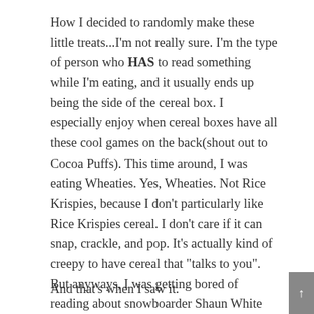How I decided to randomly make these little treats...I'm not really sure. I'm the type of person who HAS to read something while I'm eating, and it usually ends up being the side of the cereal box. I especially enjoy when cereal boxes have all these cool games on the back(shout out to Cocoa Puffs). This time around, I was eating Wheaties. Yes, Wheaties. Not Rice Krispies, because I don't particularly like Rice Krispies cereal. I don't care if it can snap, crackle, and pop. It's actually kind of creepy to have cereal that "talks to you". But anyways, I was getting bored of reading about snowboarder Shaun White on the back of the Wheaties box, so I went for the next available cereal box.
And that's when I saw it.